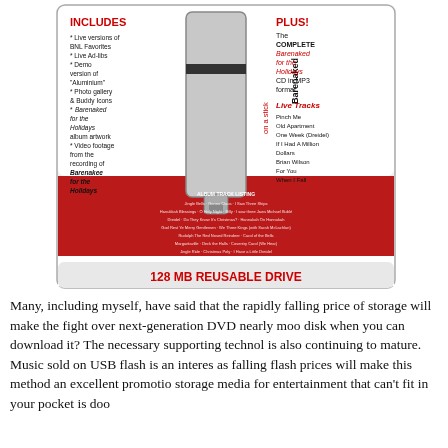[Figure (photo): Product packaging for 'Barenaked on a Stick' USB flash drive (128 MB Reusable Drive) containing Barenaked for the Holidays album in MP3 format plus live tracks and bonus content. The packaging shows a USB stick with text listing included content on left (INCLUDES: Live versions of BNL Favorites, Live Ad-libs, Demo version of 'Aluminium', Photo gallery & Buddy Icons, Barenaked for the Holidays album artwork, Video footage from the recording of Barenaked for the Holidays) and on right (PLUS! The COMPLETE Barenaked for the Holidays CD in MP3 format, Live Tracks: Pinch Me, Old Apartment, One Week (Dreidel), If I Had A Million Dollars, Brian Wilson, For You, When I Fall). Bottom shows red area with album track listing and '128 MB REUSABLE DRIVE' in yellow text.]
Many, including myself, have said that the rapidly falling price of storage will make the fight over next-generation DVD nearly moo disk when you can download it? The necessary supporting technol is also continuing to mature. Music sold on USB flash is an interes as falling flash prices will make this method an excellent promotio storage media for entertainment that can't fit in your pocket is doo